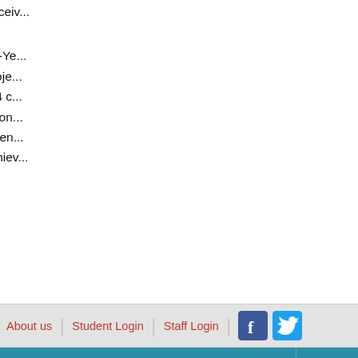designed courses and receiv...
During the Eleventh Five-Ye... "863" plan, one major proje... Natural Science Fund, 24 c... projects of European Union ... research papers have been ... Technology has been achiev...
About us | Student Login | Staff Login [Facebook] [Twitter]
University Internal Links
Chaohu Affiliated Hospital
Stomatological Affiliated Hospital
4th Affiliated Hospital
2nd Affiliated Hospital
1st Affiliated Hospital
University Library
Anhui Medical University
Other O...
HS...
Anhui C...
Anhu...